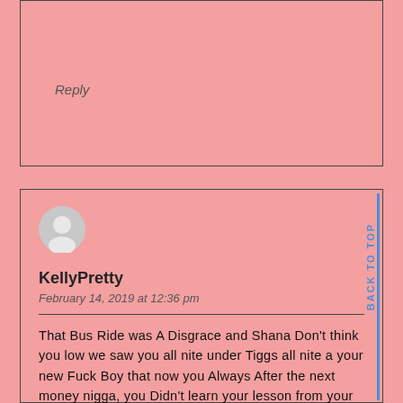Reply
[Figure (illustration): User avatar silhouette circle icon, gray color]
KellyPretty
February 14, 2019 at 12:36 pm
That Bus Ride was A Disgrace and Shana Don't think you low we saw you all nite under Tiggs all nite a your new Fuck Boy that now you Always After the next money nigga, you Didn't learn your lesson from your Baby Dad Weh not giving your daughter nothing you always a front for